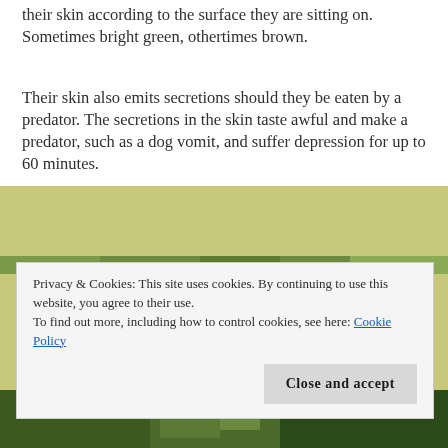their skin according to the surface they are sitting on. Sometimes bright green, othertimes brown.
Their skin also emits secretions should they be eaten by a predator. The secretions in the skin taste awful and make a predator, such as a dog vomit, and suffer depression for up to 60 minutes.
[Figure (photo): Partial photo of a frog or toad in a green outdoor setting, partially obscured by the cookie consent banner.]
Privacy & Cookies: This site uses cookies. By continuing to use this website, you agree to their use.
To find out more, including how to control cookies, see here: Cookie Policy
Close and accept